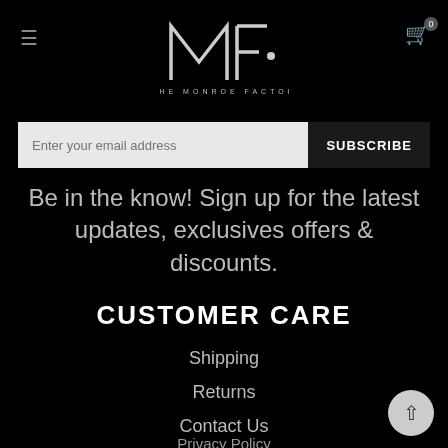≡  THE MONROE FACTOR  🛒 0
[Figure (logo): The Monroe Factor logo: stylized MF letters in white with dot, and tagline THE MONROE FACTOR below in spaced caps]
Enter your email address   SUBSCRIBE
Be in the know! Sign up for the latest updates, exclusives offers & discounts.
CUSTOMER CARE
Shipping
Returns
Contact Us
Privacy Policy